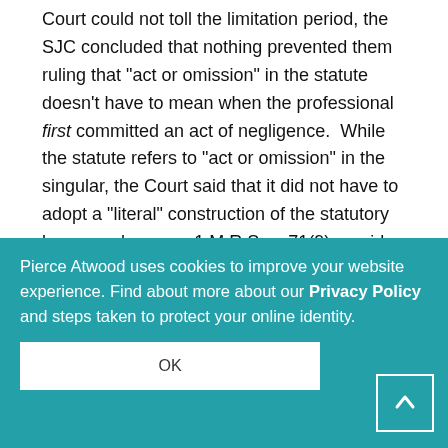Court could not toll the limitation period, the SJC concluded that nothing prevented them ruling that "act or omission" in the statute doesn't have to mean when the professional first committed an act of negligence.  While the statute refers to "act or omission" in the singular, the Court said that it did not have to adopt a "literal" construction of the statutory language because 1 M.R.S. s. 71(9) provides that "words of the singular number may include the plural; and words of the plural number may include the singular."  Noting that "[t]here is a circular quality to the logic of using a rule of statutory construction to interpret the plain meaning of a statute when that
rule only applies if it does not conflict with the plain meaning of the statute," the Court said it could apply this "singular means plural" rule of construction because it found nothing else in Section 2902 indicating that "act or omission" should only mean the singular, and because elsewhere in the Act
Pierce Atwood uses cookies to improve your website experience. Find about more about our Privacy Policy and steps taken to protect your online identity.
OK